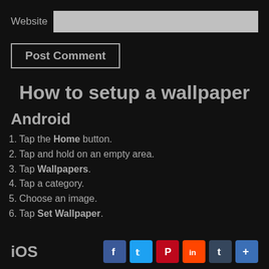Website [input field]
Post Comment
How to setup a wallpaper
Android
Tap the Home button.
Tap and hold on an empty area.
Tap Wallpapers.
Tap a category.
Choose an image.
Tap Set Wallpaper.
iOS
[Figure (other): Social sharing icons: Facebook, Twitter, Pinterest, Reddit, Tumblr, Plus]